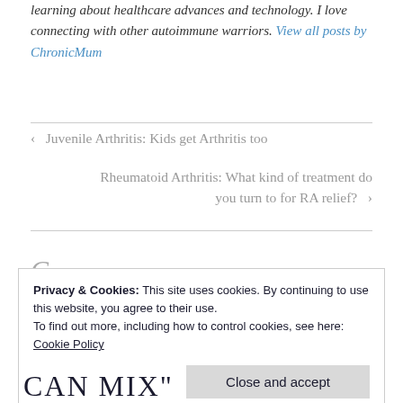learning about healthcare advances and technology. I love connecting with other autoimmune warriors. View all posts by ChronicMum
< Juvenile Arthritis: Kids get Arthritis too
Rheumatoid Arthritis: What kind of treatment do you turn to for RA relief? >
Privacy & Cookies: This site uses cookies. By continuing to use this website, you agree to their use.
To find out more, including how to control cookies, see here:
Cookie Policy
Close and accept
Can Mix"